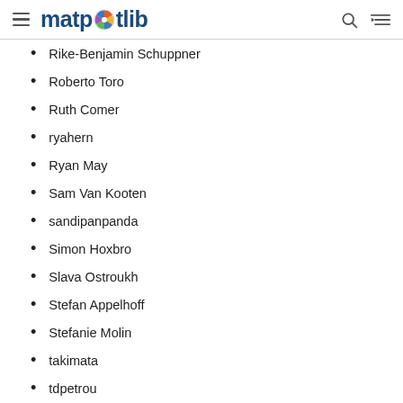matplotlib
Rike-Benjamin Schuppner
Roberto Toro
Ruth Comer
ryahern
Ryan May
Sam Van Kooten
sandipanpanda
Simon Hoxbro
Slava Ostroukh
Stefan Appelhoff
Stefanie Molin
takimata
tdpetrou
theOehrly